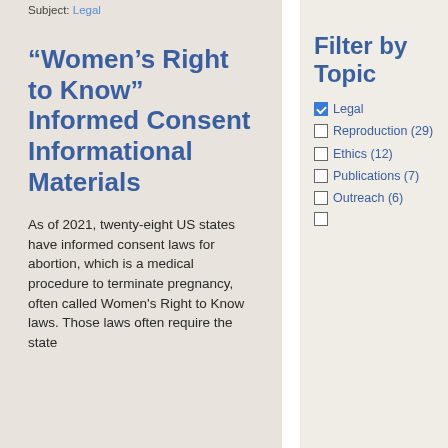Subject: Legal
“Women’s Right to Know” Informed Consent Informational Materials
As of 2021, twenty-eight US states have informed consent laws for abortion, which is a medical procedure to terminate pregnancy, often called Women’s Right to Know laws. Those laws often require the state
Filter by Topic
Legal (checked)
Reproduction (29)
Ethics (12)
Publications (7)
Outreach (6)